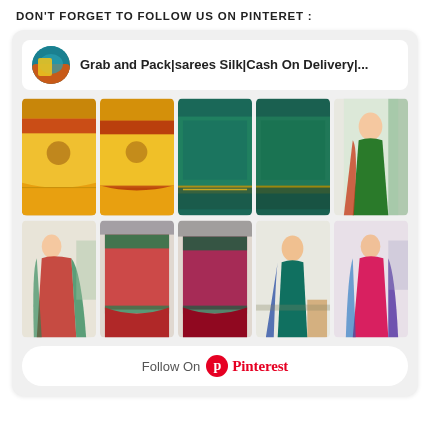DON'T FORGET TO FOLLOW US ON PINTERET :
[Figure (screenshot): Pinterest widget card showing 'Grab and Pack|sarees Silk|Cash On Delivery|...' account with a grid of saree product and model photos, and a Follow On Pinterest button at the bottom.]